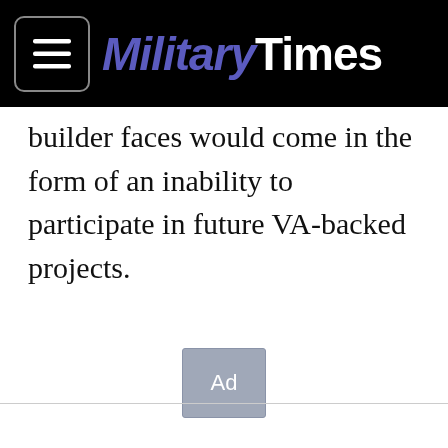MilitaryTimes
builder faces would come in the form of an inability to participate in future VA-backed projects.
[Figure (other): Ad placeholder box with text 'Ad']